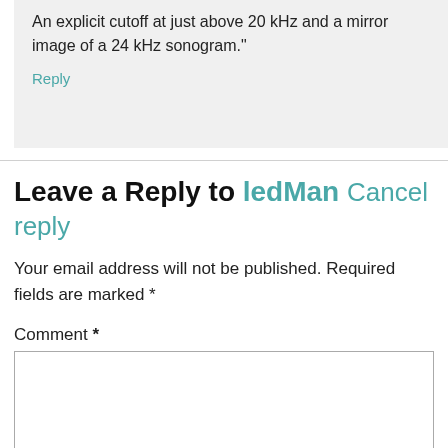An explicit cutoff at just above 20 kHz and a mirror image of a 24 kHz sonogram."
Reply
Leave a Reply to ledMan Cancel reply
Your email address will not be published. Required fields are marked *
Comment *